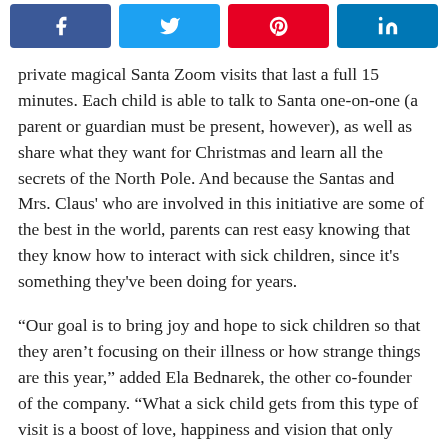[Figure (other): Social media share buttons: Facebook (blue), Twitter (blue), Pinterest (red), LinkedIn (blue)]
private magical Santa Zoom visits that last a full 15 minutes. Each child is able to talk to Santa one-on-one (a parent or guardian must be present, however), as well as share what they want for Christmas and learn all the secrets of the North Pole. And because the Santas and Mrs. Claus' who are involved in this initiative are some of the best in the world, parents can rest easy knowing that they know how to interact with sick children, since it's something they've been doing for years.
“Our goal is to bring joy and hope to sick children so that they aren’t focusing on their illness or how strange things are this year,” added Ela Bednarek, the other co-founder of the company. “What a sick child gets from this type of visit is a boost of love, happiness and vision that only Santa can provide. This